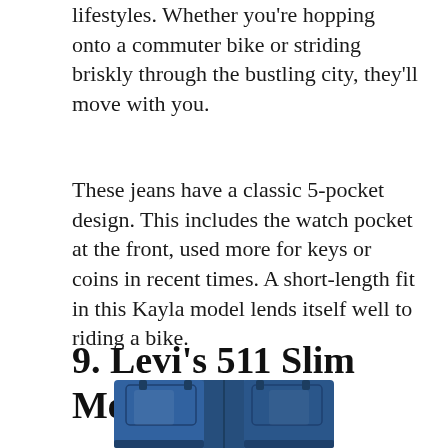lifestyles. Whether you're hopping onto a commuter bike or striding briskly through the bustling city, they'll move with you.
These jeans have a classic 5-pocket design. This includes the watch pocket at the front, used more for keys or coins in recent times. A short-length fit in this Kayla model lends itself well to riding a bike.
9. Levi's 511 Slim Men's Jeans
[Figure (photo): Partial image of Levi's 511 Slim Men's Jeans, showing the lower portion of a pair of dark blue denim jeans]